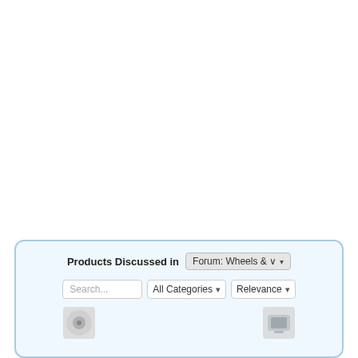[Figure (screenshot): A product widget UI component at the bottom of a mostly white page. The widget has a light blue rounded-rectangle container with the header 'Products Discussed in' followed by a dropdown showing 'Forum: Wheels &...' with a chevron. Below is a search bar with placeholder 'Search...', a dropdown for 'All Categories', and a 'Relevance' dropdown. At the bottom are partially visible product thumbnail images.]